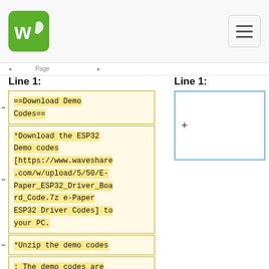Waveshare logo and navigation hamburger menu
Line 1:
==Download Demo Codes==
*Download the ESP32 Demo codes [https://www.waveshare.com/w/upload/5/50/E-Paper_ESP32_Driver_Board_Code.7z e-Paper ESP32 Driver Codes] to your PC.
*Unzip the demo codes
: The demo codes are included in the examples folder.
:[[File:Epd esp32
Line 1: